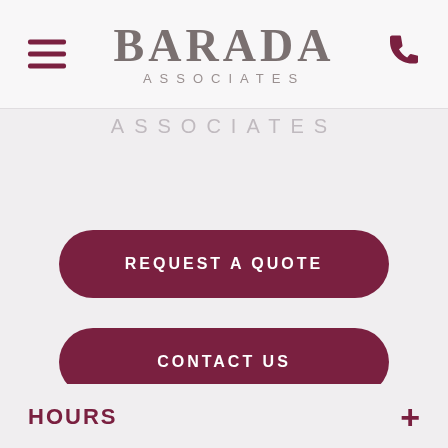BARADA ASSOCIATES
ASSOCIATES
REQUEST A QUOTE
CONTACT US
CLIENT LOGIN
HOURS